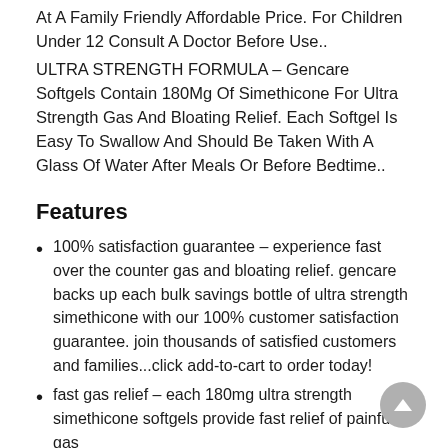At A Family Friendly Affordable Price. For Children Under 12 Consult A Doctor Before Use..
ULTRA STRENGTH FORMULA – Gencare Softgels Contain 180Mg Of Simethicone For Ultra Strength Gas And Bloating Relief. Each Softgel Is Easy To Swallow And Should Be Taken With A Glass Of Water After Meals Or Before Bedtime..
Features
100% satisfaction guarantee – experience fast over the counter gas and bloating relief. gencare backs up each bulk savings bottle of ultra strength simethicone with our 100% customer satisfaction guarantee. join thousands of satisfied customers and families...click add-to-cart to order today!
fast gas relief – each 180mg ultra strength simethicone softgels provide fast relief of painful gas